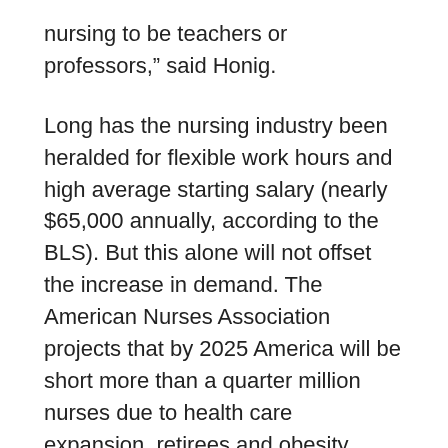nursing to be teachers or professors,” said Honig.
Long has the nursing industry been heralded for flexible work hours and high average starting salary (nearly $65,000 annually, according to the BLS). But this alone will not offset the increase in demand. The American Nurses Association projects that by 2025 America will be short more than a quarter million nurses due to health care expansion, retirees and obesity challenges.
“Boy,” said Bauer, “are we going to need nurses to work outside the hospitals and in the home.”